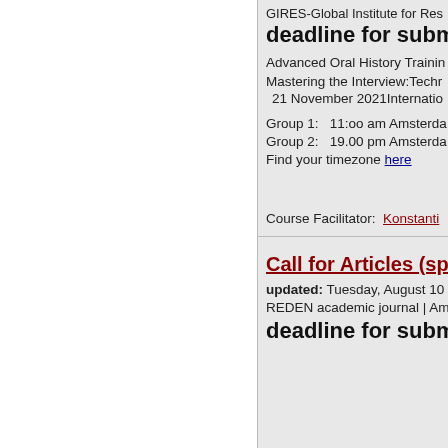GIRES-Global Institute for Res
deadline for submiss
Advanced Oral History Trainin
Mastering the Interview:Techr
21 November 2021Internatio
Group 1:   11:oo am Amsterda
Group 2:   19.00 pm Amsterda
Find your timezone here
Course Facilitator:  Konstantin
Call for Articles (spri
updated: Tuesday, August 10
REDEN academic journal | Am
deadline for submiss